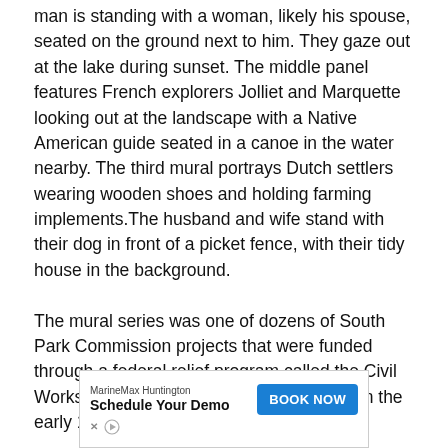man is standing with a woman, likely his spouse, seated on the ground next to him. They gaze out at the lake during sunset. The middle panel features French explorers Jolliet and Marquette looking out at the landscape with a Native American guide seated in a canoe in the water nearby. The third mural portrays Dutch settlers wearing wooden shoes and holding farming implements.The husband and wife stand with their dog in front of a picket fence, with their tidy house in the background.

The mural series was one of dozens of South Park Commission projects that were funded through a federal relief program called the Civil Works Administration (CWA). Established in the early 1930s by President Franklin Delano
[Figure (other): Advertisement banner for MarineMax Huntington with 'Schedule Your Demo' headline and 'BOOK NOW' button in blue.]